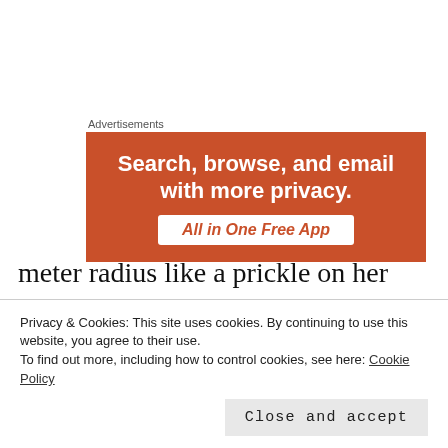[Figure (infographic): Orange advertisement banner reading 'Search, browse, and email with more privacy. All in One Free App' with a white button/label on orange background. Labeled 'Advertisements' above.]
In her room, Raven strode over to her bed and sat down on it with her legs crossed. Closing her eyes, Raven expanded her other senses and let her
meter radius like a prickle on her skin.
Privacy & Cookies: This site uses cookies. By continuing to use this website, you agree to their use.
To find out more, including how to control cookies, see here: Cookie Policy
Close and accept